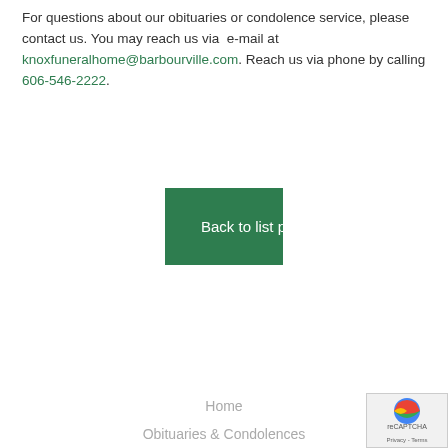For questions about our obituaries or condolence service, please contact us. You may reach us via e-mail at knoxfuneralhome@barbourville.com. Reach us via phone by calling 606-546-2222.
Back to list page
Home
Obituaries & Condolences
About Us
Services
Resources
Florists